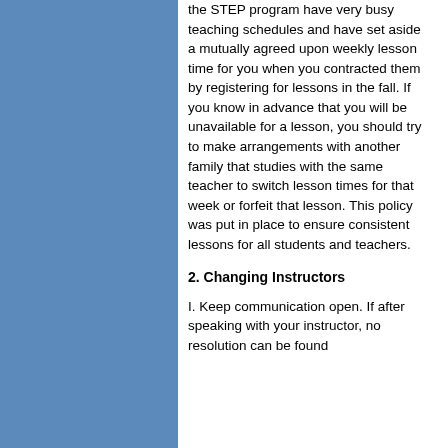the STEP program have very busy teaching schedules and have set aside a mutually agreed upon weekly lesson time for you when you contracted them by registering for lessons in the fall. If you know in advance that you will be unavailable for a lesson, you should try to make arrangements with another family that studies with the same teacher to switch lesson times for that week or forfeit that lesson. This policy was put in place to ensure consistent lessons for all students and teachers.
2. Changing Instructors
I. Keep communication open. If after speaking with your instructor, no resolution can be found